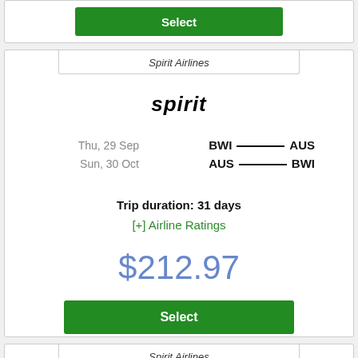Select
Spirit Airlines
[Figure (logo): Spirit Airlines logo — italic bold black text reading 'spirit']
Thu, 29 Sep   BWI ——— AUS
Sun, 30 Oct   AUS ——— BWI
Trip duration: 31 days
[+] Airline Ratings
$212.97
Select
Spirit Airlines